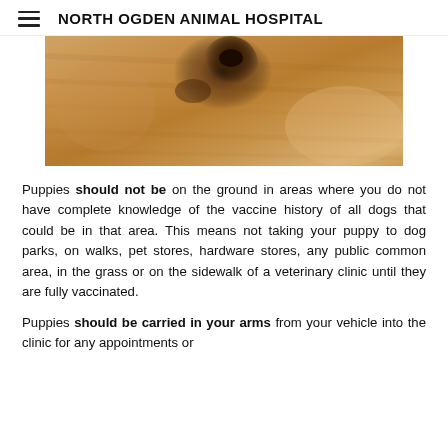NORTH OGDEN ANIMAL HOSPITAL
[Figure (photo): Close-up photo of a golden/cream colored puppy or dog viewed from above, showing the dog's back and head area with dark nose visible against light fur]
Puppies should not be on the ground in areas where you do not have complete knowledge of the vaccine history of all dogs that could be in that area. This means not taking your puppy to dog parks, on walks, pet stores, hardware stores, any public common area, in the grass or on the sidewalk of a veterinary clinic until they are fully vaccinated.
Puppies should be carried in your arms from your vehicle into the clinic for any appointments or